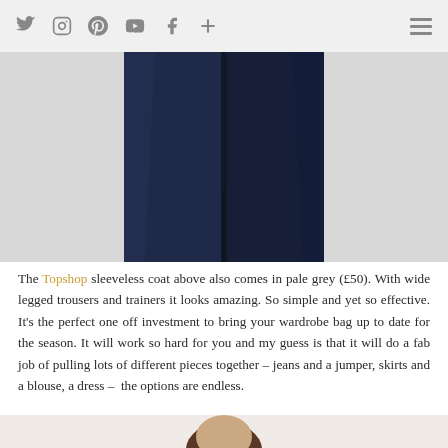Social media icons: Twitter, Instagram, Pinterest, YouTube, Facebook, Plus | Hamburger menu
[Figure (photo): Close-up of a navy blue sleeveless coat against a light grey background, showing the lower portion of the garment with a front center split.]
The Topshop sleeveless coat above also comes in pale grey (£50). With wide legged trousers and trainers it looks amazing. So simple and yet so effective. It's the perfect one off investment to bring your wardrobe bag up to date for the season. It will work so hard for you and my guess is that it will do a fab job of pulling lots of different pieces together – jeans and a jumper, skirts and a blouse, a dress – the options are endless.
[Figure (photo): Partial view of a woman with long dark brown hair, photographed from the shoulders up against a pale pink/beige background.]